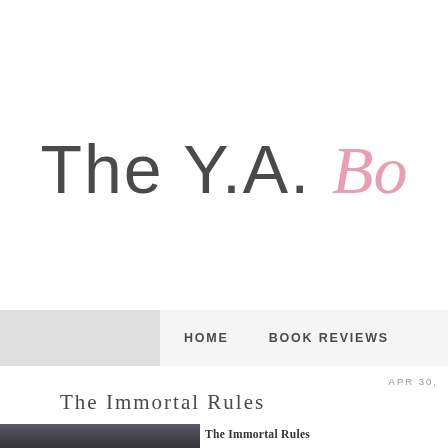The Y.A. Bo...
HOME   BOOK REVIEWS
APR 30,
The Immortal Rules
[Figure (photo): Close-up photo of a woman's face with dark hair and dramatic eye makeup]
The Immortal Rules
Author: Julie Kagawa
Publisher: Harlequin Teen